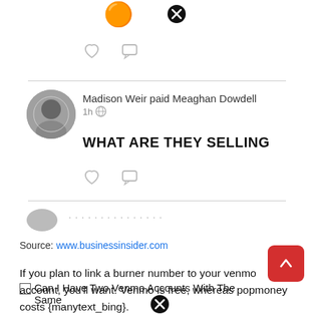[Figure (screenshot): Partial social media feed showing emoji at top and heart/comment icons]
Madison Weir paid Meaghan Dowdell
1h
WHAT ARE THEY SELLING
Source: www.businessinsider.com
If you plan to link a burner number to your venmo account, you'll want. Venmo is free, whereas popmoney costs {manytext_bing}.
Can I Have Two Venmo Accounts With The Same